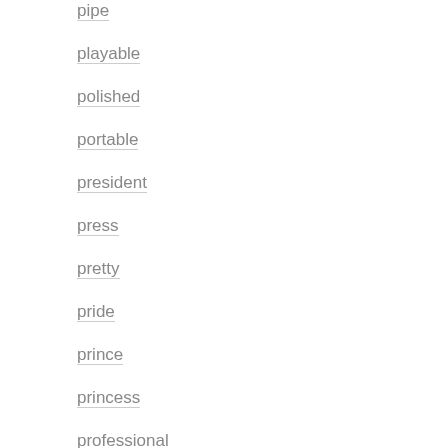pipe
playable
polished
portable
president
press
pretty
pride
prince
princess
professional
prong
queens
r052